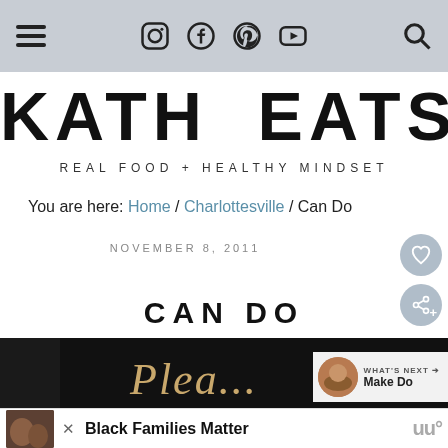Navigation bar with hamburger menu, social icons (Instagram, Facebook, Pinterest, YouTube), and search icon
KATH EATS
REAL FOOD + HEALTHY MINDSET
You are here: Home / Charlottesville / Can Do
NOVEMBER 8, 2011
CAN DO
[Figure (photo): Article hero image showing handwritten text on what appears to be a sign, dark background]
[Figure (photo): Advertisement banner: Black Families Matter with photo of family]